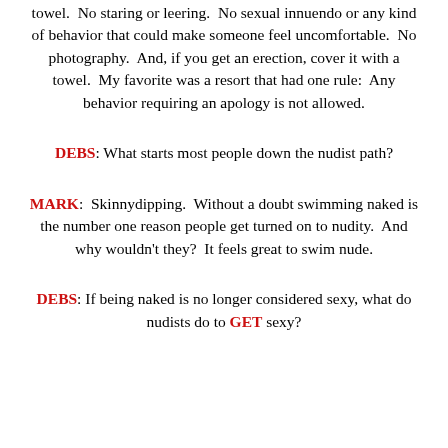towel.  No staring or leering.  No sexual innuendo or any kind of behavior that could make someone feel uncomfortable.  No photography.  And, if you get an erection, cover it with a towel.  My favorite was a resort that had one rule:  Any behavior requiring an apology is not allowed.
DEBS: What starts most people down the nudist path?
MARK:  Skinnydipping.  Without a doubt swimming naked is the number one reason people get turned on to nudity.  And why wouldn't they?  It feels great to swim nude.
DEBS: If being naked is no longer considered sexy, what do nudists do to GET sexy?